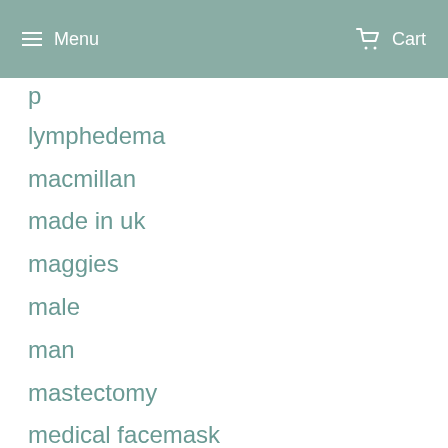Menu   Cart
lymphedema
macmillan
made in uk
maggies
male
man
mastectomy
medical facemask
men
mens
mens cancer
mens cancer hat
mens Hats
metastatic